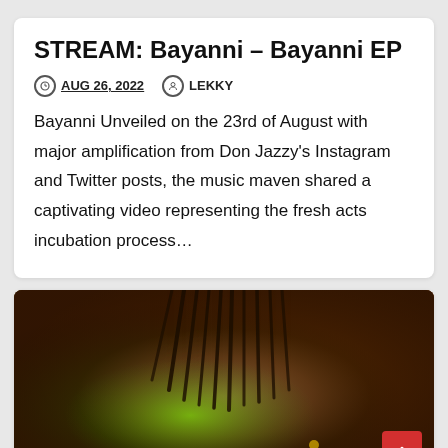STREAM: Bayanni – Bayanni EP
AUG 26, 2022   LEKKY
Bayanni Unveiled on the 23rd of August with major amplification from Don Jazzy's Instagram and Twitter posts, the music maven shared a captivating video representing the fresh acts incubation process…
[Figure (photo): Close-up portrait of Bayanni musician with green and orange lighting, dreadlocked hair falling over face, gold cross earring visible, dramatic colored lighting effect]